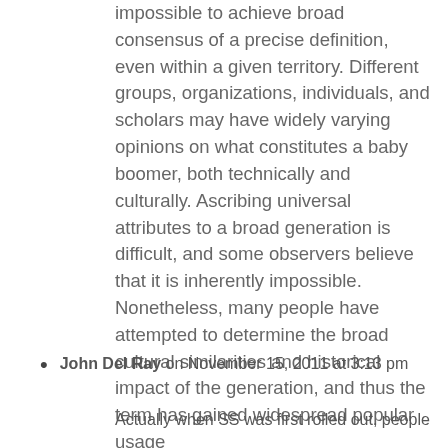impossible to achieve broad consensus of a precise definition, even within a given territory. Different groups, organizations, individuals, and scholars may have widely varying opinions on what constitutes a baby boomer, both technically and culturally. Ascribing universal attributes to a broad generation is difficult, and some observers believe that it is inherently impossible. Nonetheless, many people have attempted to determine the broad cultural similarities and historical impact of the generation, and thus the term has gained widespread popular usage
John Del Ray on November 15, 2011 at 3:13 pm
Actually when SS was first rolled out, people